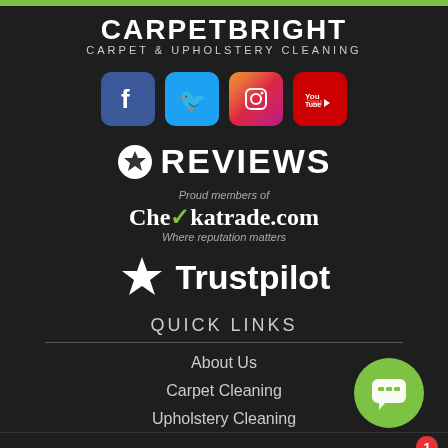[Figure (logo): CarpetBright logo with text 'CARPET & UPHOLSTERY CLEANING' below]
[Figure (infographic): Four social media icons: Facebook (blue), Twitter (blue), Instagram (colorful), YouTube (red)]
REVIEWS
[Figure (logo): Checkatrade.com logo with text 'Proud members of' above and 'Where reputation matters' below]
[Figure (logo): Trustpilot logo with star icon]
QUICK LINKS
About Us
Carpet Cleaning
Upholstery Cleaning